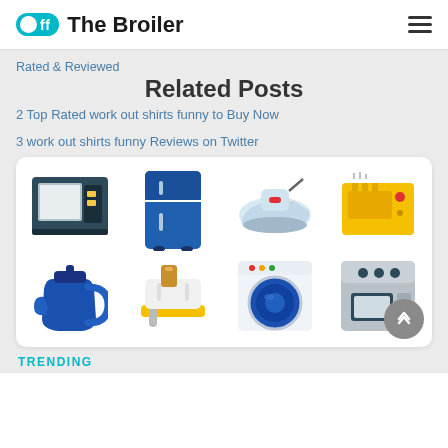Off The Broiler
Rated & Reviewed
Related Posts
2 Top Rated work out shirts funny to Buy Now
3 work out shirts funny Reviews on Twitter
[Figure (illustration): Grid of 8 household appliance icons: microwave, refrigerator, iron, toaster oven, electric kettle, toaster, washing machine, oven/stove]
TRENDING